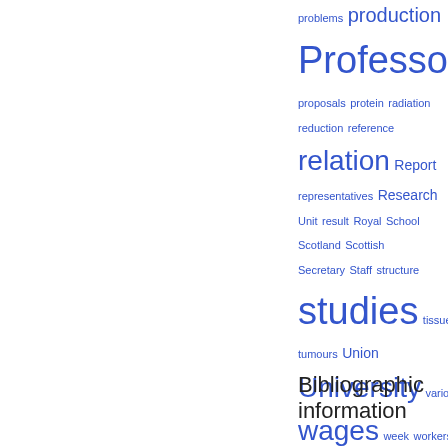[Figure (infographic): Tag/word cloud showing index terms in varying sizes and blue color: problems, production (large), Professor (very large), profits, proposals, protein, radiation, reduction, reference, relation (large), Report, representatives, Research, Unit, result, Royal, School, Scotland, Scottish, Secretary, Staff, structure, studies (very large), tissue, Trades, tumours, Union, University (large), various, wages (large), week, workers]
Bibliographic information